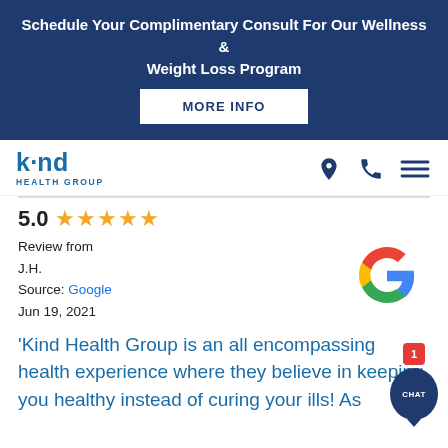Schedule Your Complimentary Consult For Our Wellness & Weight Loss Program
MORE INFO
[Figure (logo): Kind Health Group logo with stylized 'kind' wordmark in blue and 'HEALTH GROUP' subtitle]
5.0 ★★★★★
Review from
J.H.
Source: Google
Jun 19, 2021
[Figure (logo): Google 'G' multicolor logo]
'Kind Health Group is an all encompassing health experience where they believe in keeping you healthy instead of curing your ills! As